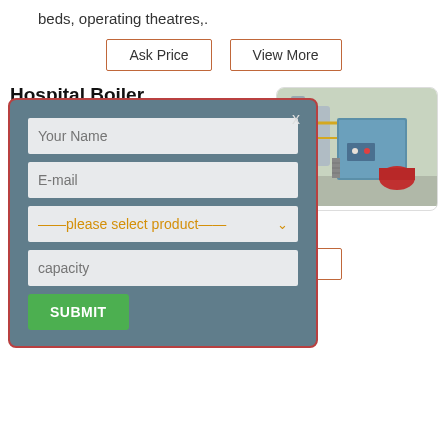beds, operating theatres,.
Ask Price    View More
Hospital Boiler Systems |
[Figure (photo): Industrial hospital boiler system with tanks, pipes and machinery in a facility.]
fying steam boilers for , from Increasing e hospital boiler Unlike other hospital equipment, their significant role in facility
[Figure (screenshot): A modal/popup form overlay with fields: Your Name, E-mail, please select product dropdown, capacity, and a SUBMIT button. Modal has a grey-blue background with red border and an X close button.]
Ask Price    View More
Operating theater